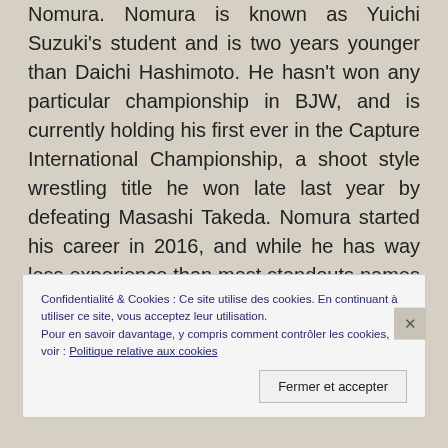Nomura. Nomura is known as Yuichi Suzuki's student and is two years younger than Daichi Hashimoto. He hasn't won any particular championship in BJW, and is currently holding his first ever in the Capture International Championship, a shoot style wrestling title he won late last year by defeating Masashi Takeda. Nomura started his career in 2016, and while he has way less experience than most standouts names in BJW, he hardly is deniable as one of the
Confidentialité & Cookies : Ce site utilise des cookies. En continuant à utiliser ce site, vous acceptez leur utilisation.
Pour en savoir davantage, y compris comment contrôler les cookies, voir : Politique relative aux cookies
Fermer et accepter